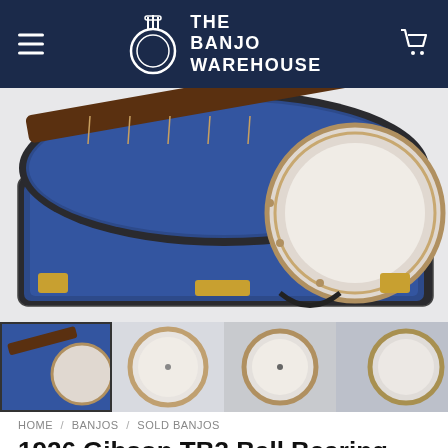THE BANJO WAREHOUSE
[Figure (photo): A banjo in an open blue-velvet lined hard case, showing the neck and head of the instrument with gold hardware clasps on the case exterior.]
[Figure (photo): Four thumbnail images: (1) banjo in case, selected; (2) banjo head front view; (3) banjo head front view alternate; (4) banjo head side/partial view.]
HOME / BANJOS / SOLD BANJOS
1926 Gibson TB3 Ball Bearing Banjo 5